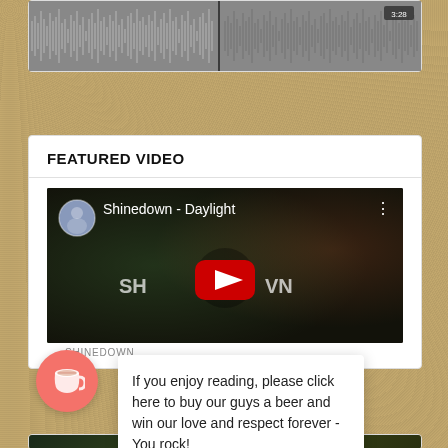[Figure (screenshot): Audio waveform player with gray waveform bars and time badge showing 3:28]
Privacy policy
FEATURED VIDEO
[Figure (screenshot): YouTube embedded video thumbnail for Shinedown - Daylight with YouTube play button overlay, channel avatar, and SHINEDOWN label below]
SHINEDOWN
If you enjoy reading, please click here to buy our guys a beer and win our love and respect forever - You rock!
[Figure (other): Circular coffee cup button (Buy Me a Coffee widget) in coral/red color]